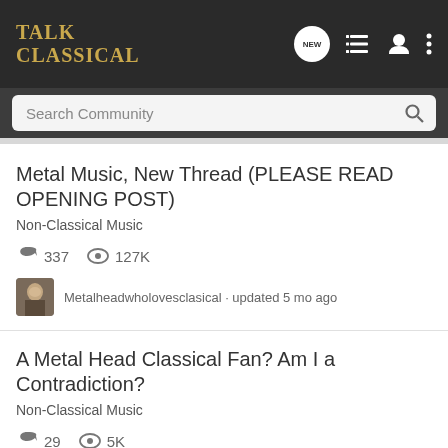Talk Classical
Search Community
Metal Music, New Thread (PLEASE READ OPENING POST)
Non-Classical Music
337 replies · 127K views
Metalheadwholovesclasical · updated 5 mo ago
A Metal Head Classical Fan? Am I a Contradiction?
Non-Classical Music
29 replies · 5K views
lalsop · updated Feb 5, 2016